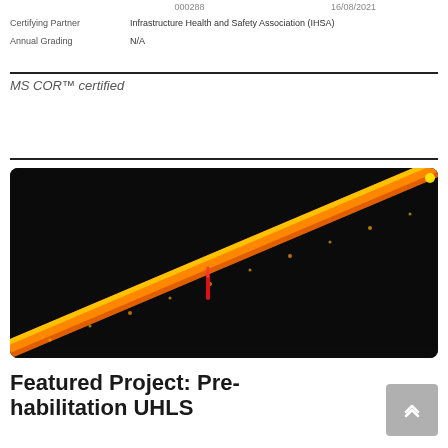|  | 000288 | 16/08/2021 |
| Certifying Partner | Infrastructure Health and Safety Association (IHSA) |  |
| Annual Grading | N/A |  |
MS COR™ certified
[Figure (photo): A diagonal pipeline or rail scan shown in false-color (orange/yellow/red) against a black background, showing a point cloud or thermal scan with a red anomaly marker near the center.]
Featured Project: Pre-habilitation UHLS...